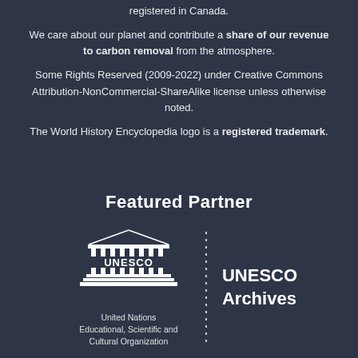registered in Canada.
We care about our planet and contribute a share of our revenue to carbon removal from the atmosphere.
Some Rights Reserved (2009-2022) under Creative Commons Attribution-NonCommercial-ShareAlike license unless otherwise noted.
The World History Encyclopedia logo is a registered trademark.
Featured Partner
[Figure (logo): UNESCO logo - temple/columns illustration with text 'United Nations Educational, Scientific and Cultural Organization' below, followed by a dotted vertical line divider and 'UNESCO Archives' text to the right]